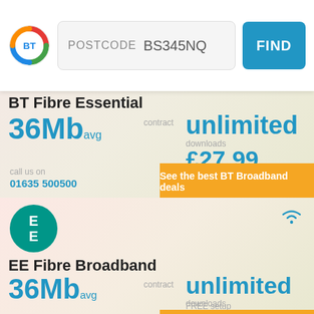[Figure (screenshot): BT Fibre Essential broadband deal page with postcode search bar (BS345NQ), showing 36Mb avg speed, unlimited downloads at £27.99/month, £9.99 setup, with call us on 01635 500500 and orange CTA button]
[Figure (screenshot): EE Fibre Broadband deal section with EE teal logo, showing 36Mb avg speed, unlimited downloads at £27.50/month, FREE setup]